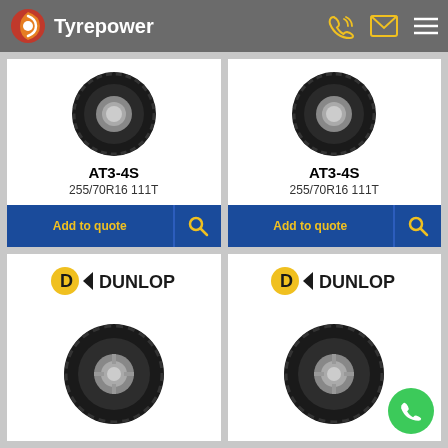Tyrepower
[Figure (screenshot): Tyrepower website product listing page showing four tyre product cards in a 2x2 grid. Top two cards show Bridgestone AT3-4S 255/70R16 111T tyres with Add to quote buttons. Bottom two cards show Dunlop branded tyres with logos and tyre images.]
AT3-4S
255/70R16 111T
Add to quote
AT3-4S
255/70R16 111T
Add to quote